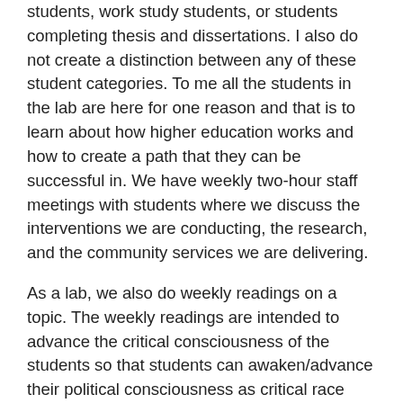students, work study students, or students completing thesis and dissertations. I also do not create a distinction between any of these student categories. To me all the students in the lab are here for one reason and that is to learn about how higher education works and how to create a path that they can be successful in. We have weekly two-hour staff meetings with students where we discuss the interventions we are conducting, the research, and the community services we are delivering.
As a lab, we also do weekly readings on a topic. The weekly readings are intended to advance the critical consciousness of the students so that students can awaken/advance their political consciousness as critical race scholars. Our meetings are also meant to be a safe space where students can learn from each other as well as from myself how to be critical researchers with the communities we conduct research with. They learn about the value of the research that is socially conscious. They learn about how to see individual human behavior from an asset-based perspective rather than a cultural-deficit sense. We discuss not only the cultural biocommunity...